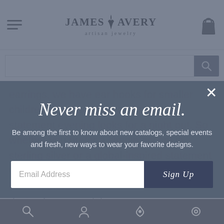James Avery Artisan Jewelry
earrings, we have ear hooks for smaller children-sized earrings all the way to statement evening looks for a night out. So whether you prefer a simple accent in sterling silver or a global-inspired statement with a combination of sterling silver and bronze, there's a design for every style.
Never miss an email.
Be among the first to know about new catalogs, special events and fresh, new ways to wear your favorite designs.
Email Address
Sign Up